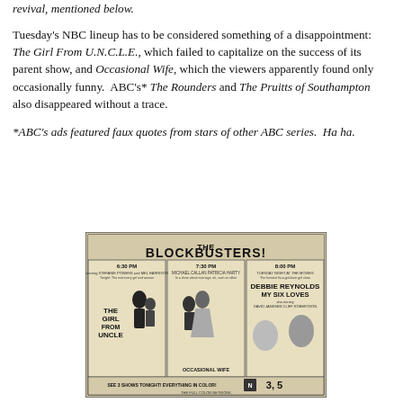revival, mentioned below.
Tuesday's NBC lineup has to be considered something of a disappointment: The Girl From U.N.C.L.E., which failed to capitalize on the success of its parent show, and Occasional Wife, which the viewers apparently found only occasionally funny.  ABC's* The Rounders and The Pruitts of Southampton also disappeared without a trace.
*ABC's ads featured faux quotes from stars of other ABC series.  Ha ha.
[Figure (photo): Newspaper advertisement for 'The Blockbusters!' NBC Tuesday night lineup showing The Girl From U.N.C.L.E. at 6:30 PM, Occasional Wife at 7:30 PM, and Tuesday Night at the Movies featuring Debbie Reynolds in 'My Six Loves' at 8:00 PM. Bottom text reads 'SEE 3 SHOWS TONIGHT! EVERYTHING IN COLOR! NBC 3, 5 THE FULL COLOR NETWORK']